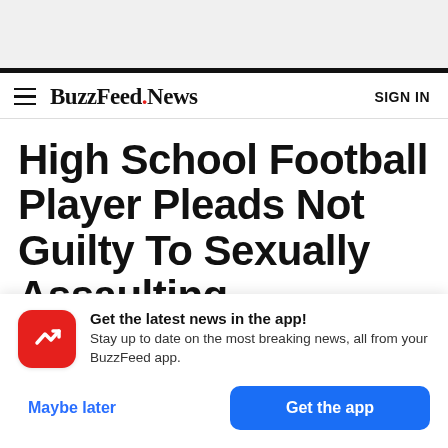BuzzFeed.News — SIGN IN
High School Football Player Pleads Not Guilty To Sexually Assaulting Teammate With A Cast
Get the latest news in the app! Stay up to date on the most breaking news, all from your BuzzFeed app.
Maybe later | Get the app